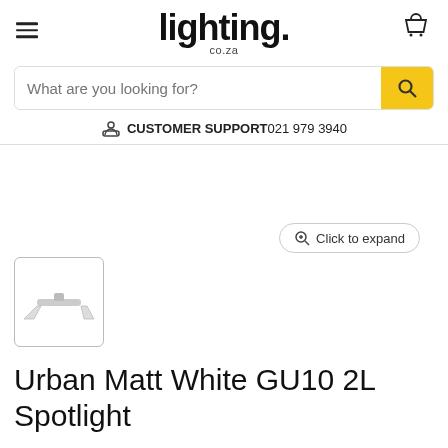lighting. co.za
What are you looking for?
CUSTOMER SUPPORT 021 979 3940
[Figure (photo): Thumbnail image of Urban Matt White GU10 2L Spotlight product — a double spotlight bar with two angled white spotlight heads]
Click to expand
Urban Matt White GU10 2L Spotlight